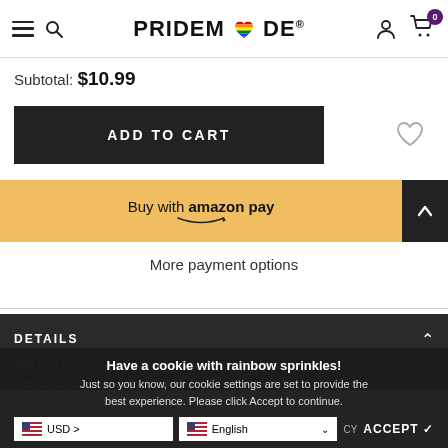PRIDEMODE (logo with rainbow heart) — navigation header with hamburger menu, search, account, and cart (0 items)
Subtotal:  $10.99
ADD TO CART
Buy with amazon pay
More payment options
DETAILS
This product features our pride print design. Our intention is that you can incorporate it as any hat, shirt, jacket, or bag!
Have a cookie with rainbow sprinkles! Just so you know, our cookie settings are set to provide the best experience. Please click Accept to continue.
USD >
English
ACCEPT ✔